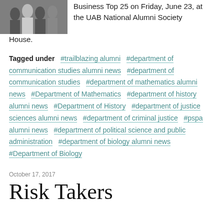[Figure (photo): Group photo of people, partially visible at top left]
Business Top 25 on Friday, June 23, at the UAB National Alumni Society House.
Tagged under  #trailblazing alumni  #department of communication studies alumni news  #department of communication studies  #department of mathematics alumni news  #Department of Mathematics  #department of history alumni news  #Department of History  #department of justice sciences alumni news  #department of criminal justice  #pspa alumni news  #department of political science and public administration  #department of biology alumni news  #Department of Biology
October 17, 2017
Risk Takers